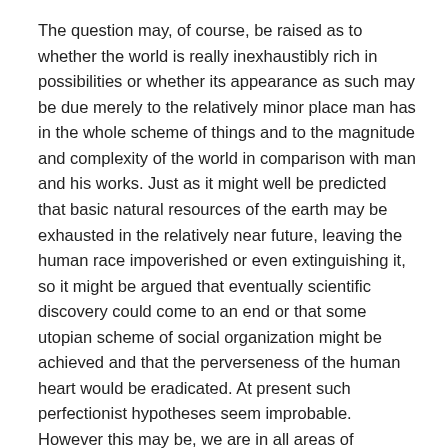The question may, of course, be raised as to whether the world is really inexhaustibly rich in possibilities or whether its appearance as such may be due merely to the relatively minor place man has in the whole scheme of things and to the magnitude and complexity of the world in comparison with man and his works. Just as it might well be predicted that basic natural resources of the earth may be exhausted in the relatively near future, leaving the human race impoverished or even extinguishing it, so it might be argued that eventually scientific discovery could come to an end or that some utopian scheme of social organization might be achieved and that the perverseness of the human heart would be eradicated. At present such perfectionist hypotheses seem improbable. However this may be, we are in all areas of experience confronted with the practical inexhaustibility of existence and with the awareness of imperfection and incompleteness in all that we achieve.